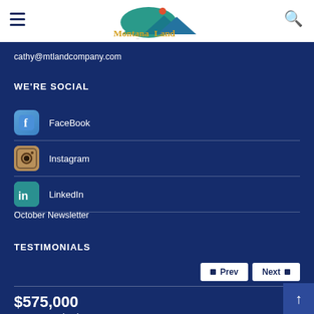Montana Land Company
cathy@mtlandcompany.com
WE'RE SOCIAL
FaceBook
Instagram
LinkedIn
October Newsletter
TESTIMONIALS
Prev  Next
$575,000
928 Moonshadow Lane
Stevensville, MT 59870